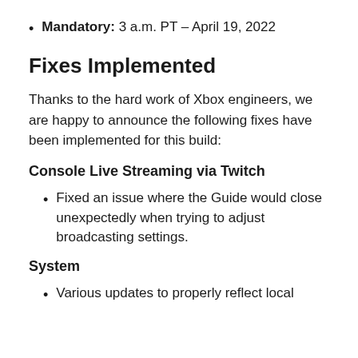Mandatory: 3 a.m. PT – April 19, 2022
Fixes Implemented
Thanks to the hard work of Xbox engineers, we are happy to announce the following fixes have been implemented for this build:
Console Live Streaming via Twitch
Fixed an issue where the Guide would close unexpectedly when trying to adjust broadcasting settings.
System
Various updates to properly reflect local